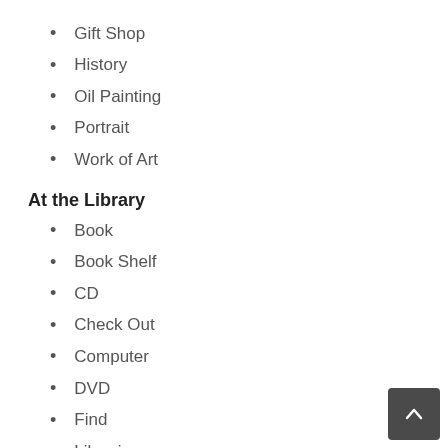Gift Shop
History
Oil Painting
Portrait
Work of Art
At the Library
Book
Book Shelf
CD
Check Out
Computer
DVD
Find
Librarian
Library Card
Look Up
Newspaper